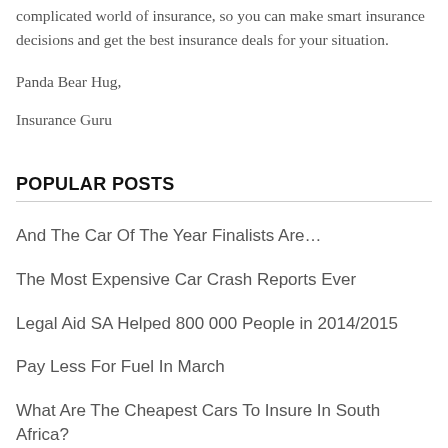complicated world of insurance, so you can make smart insurance decisions and get the best insurance deals for your situation.
Panda Bear Hug,
Insurance Guru
POPULAR POSTS
And The Car Of The Year Finalists Are…
The Most Expensive Car Crash Reports Ever
Legal Aid SA Helped 800 000 People in 2014/2015
Pay Less For Fuel In March
What Are The Cheapest Cars To Insure In South Africa?